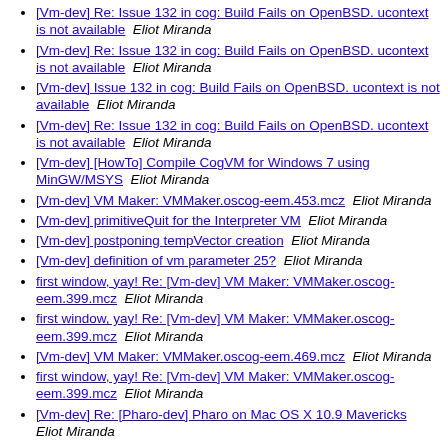[Vm-dev] Re: Issue 132 in cog: Build Fails on OpenBSD. ucontext is not available  Eliot Miranda
[Vm-dev] Re: Issue 132 in cog: Build Fails on OpenBSD. ucontext is not available  Eliot Miranda
[Vm-dev] Issue 132 in cog: Build Fails on OpenBSD. ucontext is not available  Eliot Miranda
[Vm-dev] Re: Issue 132 in cog: Build Fails on OpenBSD. ucontext is not available  Eliot Miranda
[Vm-dev] [HowTo] Compile CogVM for Windows 7 using MinGW/MSYS  Eliot Miranda
[Vm-dev] VM Maker: VMMaker.oscog-eem.453.mcz  Eliot Miranda
[Vm-dev] primitiveQuit for the Interpreter VM  Eliot Miranda
[Vm-dev] postponing tempVector creation  Eliot Miranda
[Vm-dev] definition of vm parameter 25?  Eliot Miranda
first window, yay! Re: [Vm-dev] VM Maker: VMMaker.oscog-eem.399.mcz  Eliot Miranda
first window, yay! Re: [Vm-dev] VM Maker: VMMaker.oscog-eem.399.mcz  Eliot Miranda
[Vm-dev] VM Maker: VMMaker.oscog-eem.469.mcz  Eliot Miranda
first window, yay! Re: [Vm-dev] VM Maker: VMMaker.oscog-eem.399.mcz  Eliot Miranda
[Vm-dev] Re: [Pharo-dev] Pharo on Mac OS X 10.9 Mavericks  Eliot Miranda